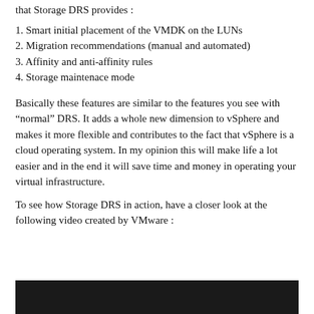that Storage DRS provides :
1. Smart initial placement of the VMDK on the LUNs
2. Migration recommendations (manual and automated)
3. Affinity and anti-affinity rules
4. Storage maintenace mode
Basically these features are similar to the features you see with “normal” DRS. It adds a whole new dimension to vSphere and makes it more flexible and contributes to the fact that vSphere is a cloud operating system. In my opinion this will make life a lot easier and in the end it will save time and money in operating your virtual infrastructure.
To see how Storage DRS in action, have a closer look at the following video created by VMware :
[Figure (screenshot): Dark/black video embed area at the bottom of the page]